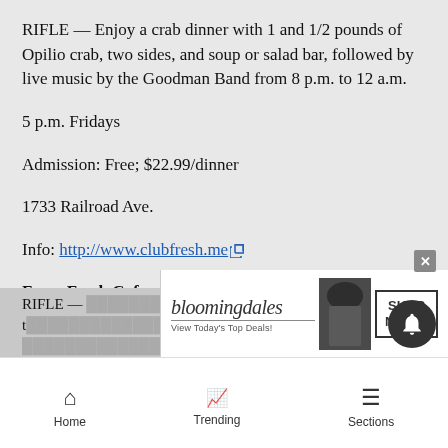RIFLE — Enjoy a crab dinner with 1 and 1/2 pounds of Opilio crab, two sides, and soup or salad bar, followed by live music by the Goodman Band from 8 p.m. to 12 a.m.
5 p.m. Fridays
Admission: Free; $22.99/dinner
1733 Railroad Ave.
Info: http://www.clubfresh.me
Farm Fresh Cafe and Steakhouse: Live Music and Dance
RIFLE — [partially visible text]
[Figure (screenshot): Bloomingdale's advertisement banner: 'View Today's Top Deals! SHOP NOW >']
Home  Trending  Sections